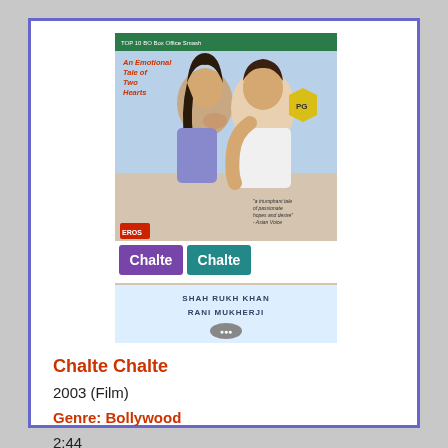[Figure (photo): Movie cover for Chalte Chalte (2003) featuring Shah Rukh Khan and Rani Mukherji in a romantic pose. Title 'Chalte Chalte' in purple/teal text on lower portion, with tagline 'An Emotional Tale of Two Hearts', 'SHAH RUKH KHAN' and 'RANI MUKHERJI' credits below.]
Chalte Chalte
2003 (Film)
Genre: Bollywood
2:44
Musical, Romance, Bollywood
Discs: 2